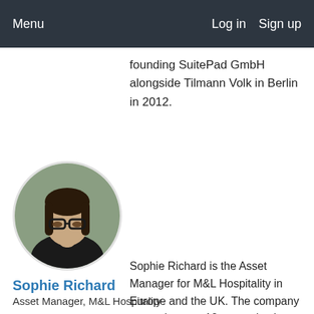Menu   Log in   Sign up
founding SuitePad GmbH alongside Tilmann Volk in Berlin in 2012.
[Figure (photo): Circular profile photo of Sophie Richard, a woman with dark hair and glasses, wearing a dark top.]
Sophie Richard
Asset Manager, M&L Hospitality
Sophie Richard is the Asset Manager for M&L Hospitality in Europe and the UK. The company currently owns 12 properties in Europe and 10 in Asia Pacific.Sophie joined M&L in 2016